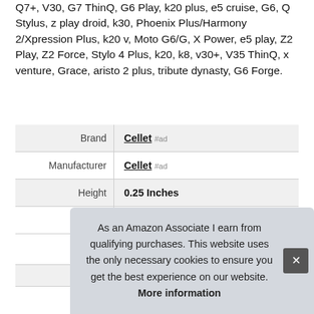Q7+, V30, G7 ThinQ, G6 Play, k20 plus, e5 cruise, G6, Q Stylus, z play droid, k30, Phoenix Plus/Harmony 2/Xpression Plus, k20 v, Moto G6/G, X Power, e5 play, Z2 Play, Z2 Force, Stylo 4 Plus, k20, k8, v30+, V35 ThinQ, x venture, Grace, aristo 2 plus, tribute dynasty, G6 Forge.
|  |  |
| --- | --- |
| Brand | Cellet #ad |
| Manufacturer | Cellet #ad |
| Height | 0.25 Inches |
| Length | 7 Inches |
| P |  |
As an Amazon Associate I earn from qualifying purchases. This website uses the only necessary cookies to ensure you get the best experience on our website. More information